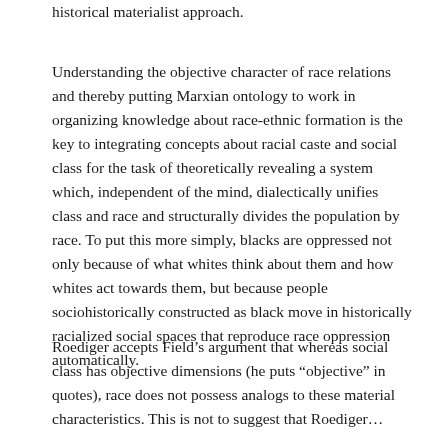historical materialist approach.
Understanding the objective character of race relations and thereby putting Marxian ontology to work in organizing knowledge about race-ethnic formation is the key to integrating concepts about racial caste and social class for the task of theoretically revealing a system which, independent of the mind, dialectically unifies class and race and structurally divides the population by race. To put this more simply, blacks are oppressed not only because of what whites think about them and how whites act towards them, but because people sociohistorically constructed as black move in historically racialized social spaces that reproduce race oppression automatically.
Roediger accepts Field's argument that whereas social class has objective dimensions (he puts “objective” in quotes), race does not possess analogs to these material characteristics. This is not to suggest that Roediger...